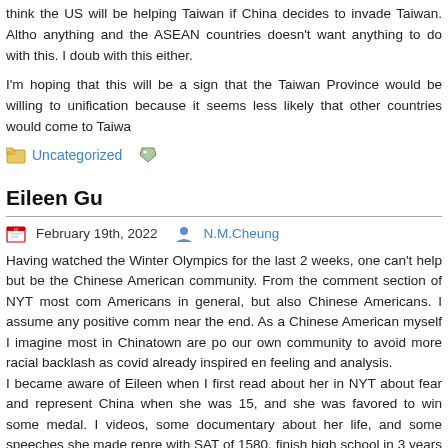think the US will be helping Taiwan if China decides to invade Taiwan. Although anything and the ASEAN countries doesn't want anything to do with this. I doubt with this either.
I'm hoping that this will be a sign that the Taiwan Province would be willing to unification because it seems less likely that other countries would come to Taiwan
Uncategorized
Eileen Gu
February 19th, 2022   N.M.Cheung
Having watched the Winter Olympics for the last 2 weeks, one can't help but be the Chinese American community. From the comment section of NYT most comm Americans in general, but also Chinese Americans. I assume any positive comm near the end. As a Chinese American myself I imagine most in Chinatown are po our own community to avoid more racial backlash as covid already inspired en feeling and analysis.
I became aware of Eileen when I first read about her in NYT about fear and represent China when she was 15, and she was favored to win some medal. I videos, some documentary about her life, and some speeches she made repre with SAT of 1580, finish high school in 3 years and deferred going to Stanford u silver. A perfect girl any Chinese parent would be proud to have. She even made for female athletes when she's about 11.
Ordinarily she would be acclaimed by both right and left if she represents United usually call Chinese Americans to pit against African Americans. The fact she